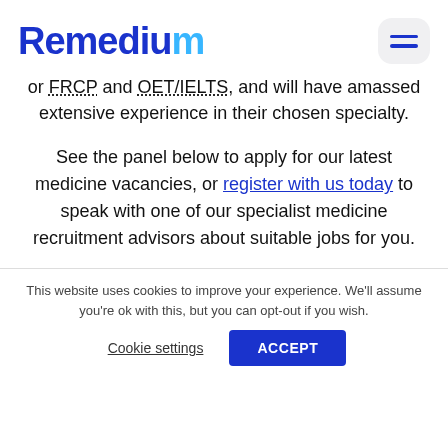Remedium
or FRCP and OET/IELTS, and will have amassed extensive experience in their chosen specialty.
See the panel below to apply for our latest medicine vacancies, or register with us today to speak with one of our specialist medicine recruitment advisors about suitable jobs for you.
This website uses cookies to improve your experience. We'll assume you're ok with this, but you can opt-out if you wish.
Cookie settings
ACCEPT